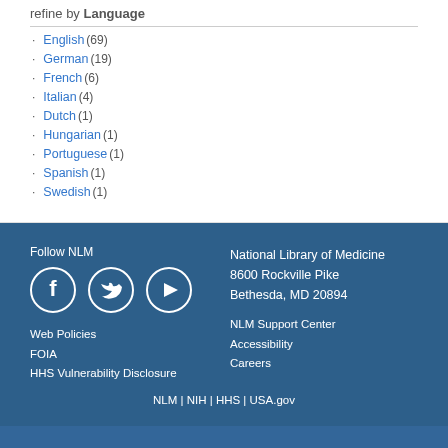refine by Language
English (69)
German (19)
French (6)
Italian (4)
Dutch (1)
Hungarian (1)
Portuguese (1)
Spanish (1)
Swedish (1)
Follow NLM
[Figure (illustration): Social media icons: Facebook, Twitter, YouTube]
Web Policies
FOIA
HHS Vulnerability Disclosure
National Library of Medicine
8600 Rockville Pike
Bethesda, MD 20894
NLM Support Center
Accessibility
Careers
NLM | NIH | HHS | USA.gov